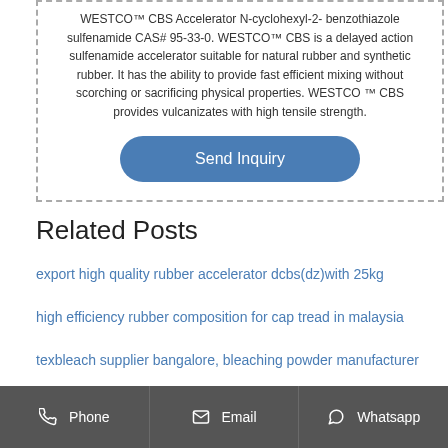WESTCO™ CBS Accelerator N-cyclohexyl-2- benzothiazole sulfenamide CAS# 95-33-0. WESTCO™ CBS is a delayed action sulfenamide accelerator suitable for natural rubber and synthetic rubber. It has the ability to provide fast efficient mixing without scorching or sacrificing physical properties. WESTCO ™ CBS provides vulcanizates with high tensile strength.
Send Inquiry
Related Posts
export high quality rubber accelerator dcbs(dz)with 25kg
high efficiency rubber composition for cap tread in malaysia
texbleach supplier bangalore, bleaching powder manufacturer
Phone   Email   Whatsapp